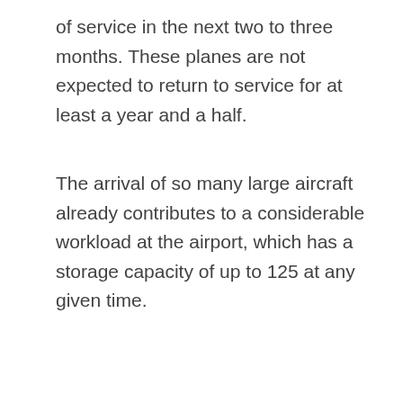of service in the next two to three months. These planes are not expected to return to service for at least a year and a half.
The arrival of so many large aircraft already contributes to a considerable workload at the airport, which has a storage capacity of up to 125 at any given time.